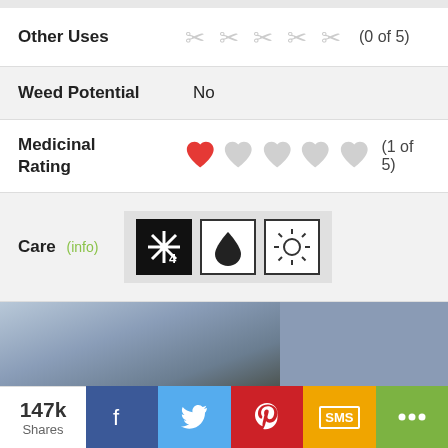Other Uses  (0 of 5)
Weed Potential  No
Medicinal Rating  (1 of 5)
Care (info)
[Figure (photo): Blurred outdoor photo with blue-grey sky and dark ground elements]
147k Shares